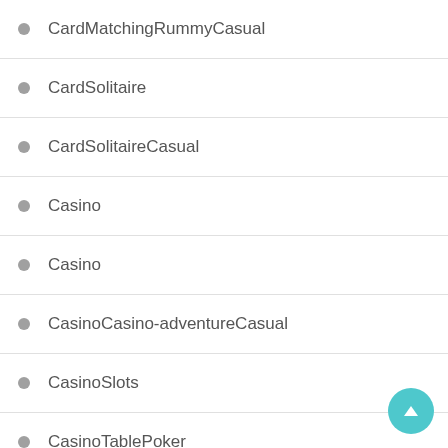CardMatchingRummyCasual
CardSolitaire
CardSolitaireCasual
Casino
Casino
CasinoCasino-adventureCasual
CasinoSlots
CasinoTablePoker
Casual
Casual